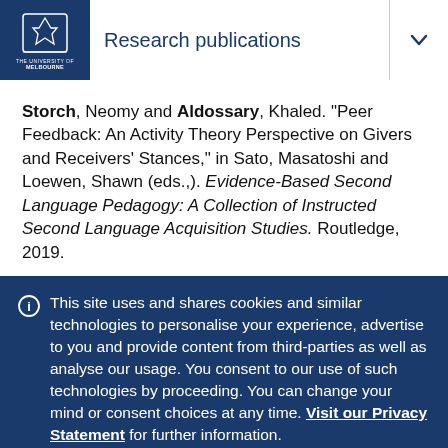Research publications
Storch, Neomy and Aldossary, Khaled. "Peer Feedback: An Activity Theory Perspective on Givers and Receivers' Stances," in Sato, Masatoshi and Loewen, Shawn (eds.,). Evidence-Based Second Language Pedagogy: A Collection of Instructed Second Language Acquisition Studies. Routledge, 2019.
This site uses and shares cookies and similar technologies to personalise your experience, advertise to you and provide content from third-parties as well as analyse our usage. You consent to our use of such technologies by proceeding. You can change your mind or consent choices at any time. Visit our Privacy Statement for further information.
Accept cookies
Cookie Preferences